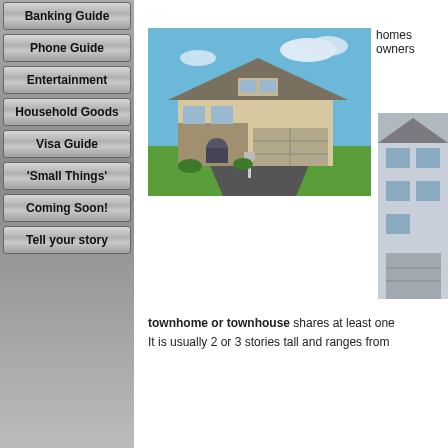Banking Guide
Phone Guide
Entertainment
Household Goods
Visa Guide
'Small Things'
Coming Soon!
Tell your story
homes owners
[Figure (photo): Two-story suburban house with stone and beige siding, attached two-car garage, green lawn, and driveway]
[Figure (photo): Partial view of a townhouse with gray siding and windows]
townhome or townhouse shares at least one... It is usually 2 or 3 stories tall and ranges from...